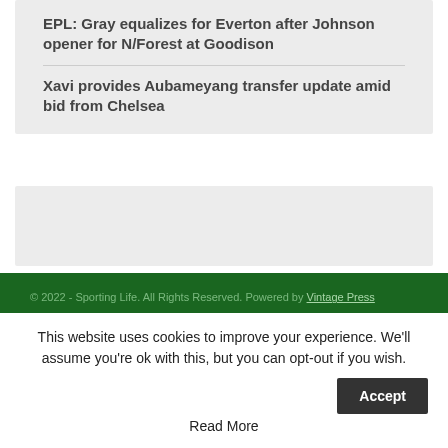EPL: Gray equalizes for Everton after Johnson opener for N/Forest at Goodison
Xavi provides Aubameyang transfer update amid bid from Chelsea
[Figure (other): Advertisement placeholder box]
© 2022 - Sporting Life. All Rights Reserved. Powered by Vintage Press
This website uses cookies to improve your experience. We'll assume you're ok with this, but you can opt-out if you wish.
Accept
Read More